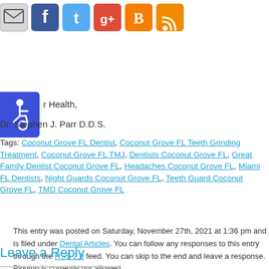[Figure (other): Row of social sharing icons: email, Facebook, Twitter, Google+, Blogger, RSS]
[Figure (other): Blue accessibility widget icon (wheelchair symbol)]
r Health,
Dr. Stephen J. Parr D.D.S.
Tags: Coconut Grove FL Dentist, Coconut Grove FL Teeth Grinding Treatment, Coconut Grove FL TMJ, Dentists Coconut Grove FL, Great Family Dentist Coconut Grove FL, Headaches Coconut Grove FL, Miami FL Dentists, Night Guards Coconut Grove FL, Teeth Guard Coconut Grove FL, TMD Coconut Grove FL
This entry was posted on Saturday, November 27th, 2021 at 1:36 pm and is filed under Dental Articles. You can follow any responses to this entry through the RSS 2.0 feed. You can skip to the end and leave a response. Pinging is currently not allowed.
Leave a Reply